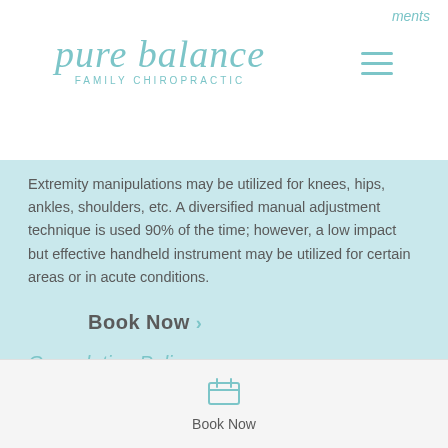ments
[Figure (logo): Pure Balance Family Chiropractic logo with script italic text and hamburger menu icon]
Extremity manipulations may be utilized for knees, hips, ankles, shoulders, etc. A diversified manual adjustment technique is used 90% of the time; however, a low impact but effective handheld instrument may be utilized for certain areas or in acute conditions.
Book Now ›
Cancelation Policy
In order for us to continue to serve the chiropractic needs of everyone in the Pure Balance Community...
Book Now